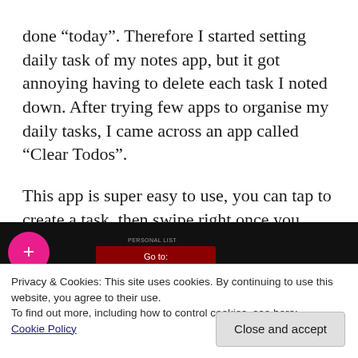done “today”. Therefore I started setting daily task of my notes app, but it got annoying having to delete each task I noted down. After trying few apps to organise my daily tasks, I came across an app called “Clear Todos”.
This app is super easy to use, you can tap to create a task, then swipe right once you complete it.
[Figure (screenshot): Screenshot of a mobile app interface with dark background, a pink circle button on the left and a red button area with small label text reading 'PERSONAL LIST' and a 'Go to:' red button in the center.]
Privacy & Cookies: This site uses cookies. By continuing to use this website, you agree to their use.
To find out more, including how to control cookies, see here: Cookie Policy
Close and accept